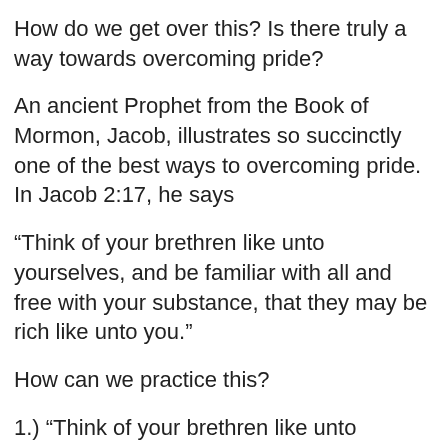How do we get over this? Is there truly a way towards overcoming pride?
An ancient Prophet from the Book of Mormon, Jacob, illustrates so succinctly one of the best ways to overcoming pride. In Jacob 2:17, he says
“Think of your brethren like unto yourselves, and be familiar with all and free with your substance, that they may be rich like unto you.”
How can we practice this?
1.) “Think of your brethren like unto yourselves.”